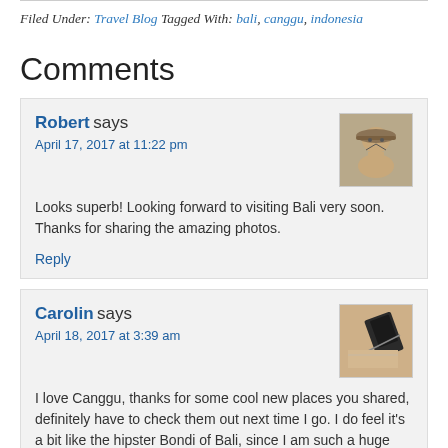Filed Under: Travel Blog Tagged With: bali, canggu, indonesia
Comments
Robert says
April 17, 2017 at 11:22 pm
Looks superb! Looking forward to visiting Bali very soon. Thanks for sharing the amazing photos.
Reply
Carolin says
April 18, 2017 at 3:39 am
I love Canggu, thanks for some cool new places you shared, definitely have to check them out next time I go. I do feel it's a bit like the hipster Bondi of Bali, since I am such a huge fan of Australia it actually feels nice to have